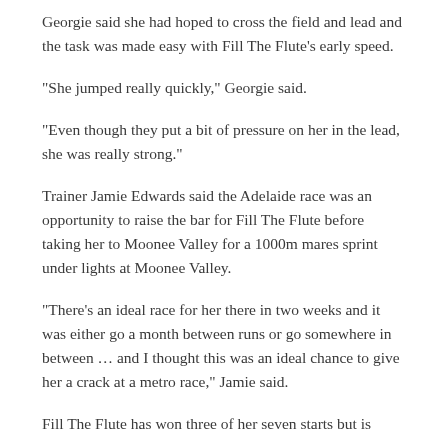Georgie said she had hoped to cross the field and lead and the task was made easy with Fill The Flute's early speed.
“She jumped really quickly,” Georgie said.
“Even though they put a bit of pressure on her in the lead, she was really strong.”
Trainer Jamie Edwards said the Adelaide race was an opportunity to raise the bar for Fill The Flute before taking her to Moonee Valley for a 1000m mares sprint under lights at Moonee Valley.
“There’s an ideal race for her there in two weeks and it was either go a month between runs or go somewhere in between … and I thought this was an ideal chance to give her a crack at a metro race,” Jamie said.
Fill The Flute has won three of her seven starts but is